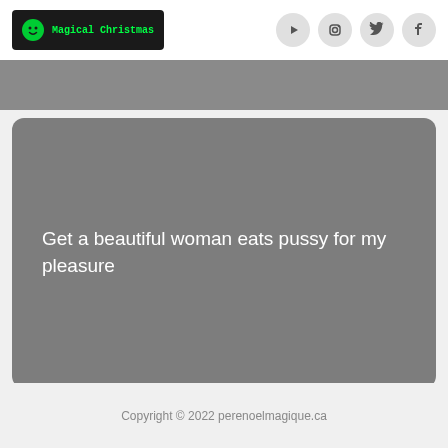[Figure (logo): Magical Christmas logo with green smiley face on dark background]
[Figure (infographic): Social media icons: YouTube, Instagram, Twitter, Facebook in gray circular buttons]
Get a beautiful woman eats pussy for my pleasure
Copyright © 2022 perenoelmagique.ca